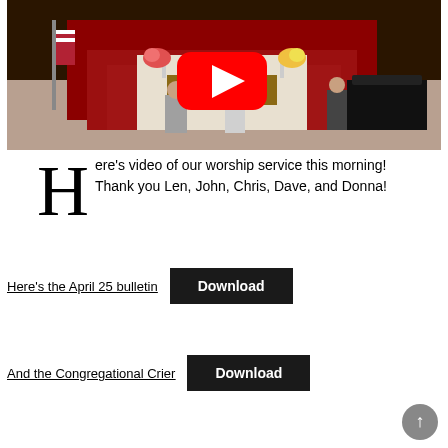[Figure (screenshot): YouTube video thumbnail of a church worship service with a red YouTube play button overlay. Shows a church interior with red carpet altar steps, flowers, three people standing, and a grand piano.]
Here's video of our worship service this morning! Thank you Len, John, Chris, Dave, and Donna!
Here's the April 25 bulletin
Download
And the Congregational Crier
Download